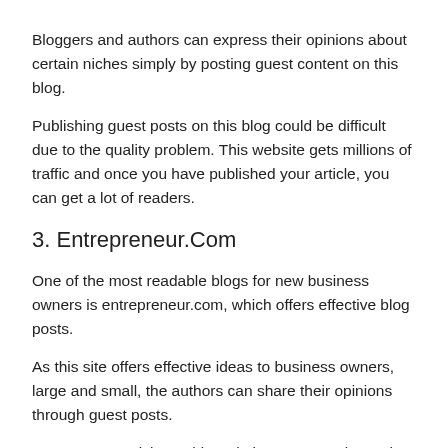Bloggers and authors can express their opinions about certain niches simply by posting guest content on this blog.
Publishing guest posts on this blog could be difficult due to the quality problem. This website gets millions of traffic and once you have published your article, you can get a lot of readers.
3. Entrepreneur.Com
One of the most readable blogs for new business owners is entrepreneur.com, which offers effective blog posts.
As this site offers effective ideas to business owners, large and small, the authors can share their opinions through guest posts.
To post your article on this website, you must know the terms and conditions by reading "Become an Entrepreneur" and filling out the form later.